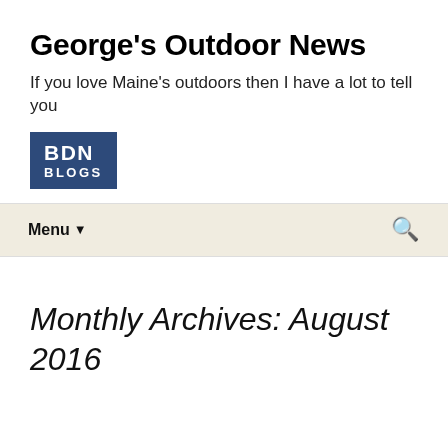George's Outdoor News
If you love Maine's outdoors then I have a lot to tell you
[Figure (logo): BDN Blogs logo — dark blue square with white bold text 'BDN' on top and 'BLOGS' below]
Menu ▾
Monthly Archives: August 2016